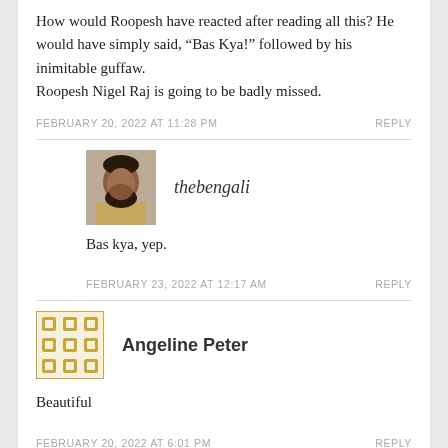How would Roopesh have reacted after reading all this? He would have simply said, “Bas Kya!” followed by his inimitable guffaw.
Roopesh Nigel Raj is going to be badly missed.
FEBRUARY 20, 2022 AT 11:28 PM
REPLY
thebengali
Bas kya, yep.
FEBRUARY 23, 2022 AT 12:17 AM
REPLY
Angeline Peter
Beautiful
FEBRUARY 20, 2022 AT 6:01 PM
REPLY